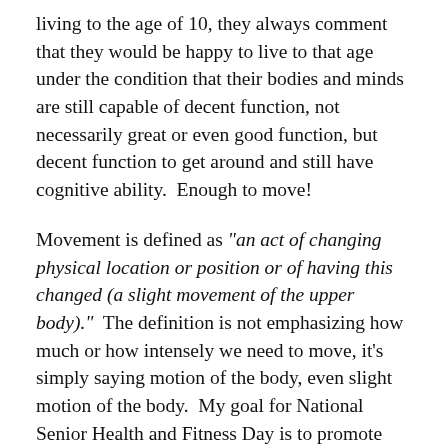living to the age of 10, they always comment that they would be happy to live to that age under the condition that their bodies and minds are still capable of decent function, not necessarily great or even good function, but decent function to get around and still have cognitive ability.  Enough to move!
Movement is defined as "an act of changing physical location or position or of having this changed (a slight movement of the upper body)."  The definition is not emphasizing how much or how intensely we need to move, it's simply saying motion of the body, even slight motion of the body.  My goal for National Senior Health and Fitness Day is to promote moving the body! No matter what your limitations, there is an exercise that can be modified to benefit and keep the body moving!  The ultimate goal is that by movement (exercise) we will continue to improve quality of life